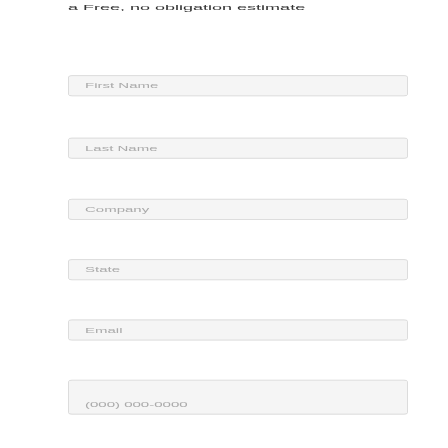a Free, no obligation estimate
First Name
Last Name
Company
State
Email
(000) 000-0000